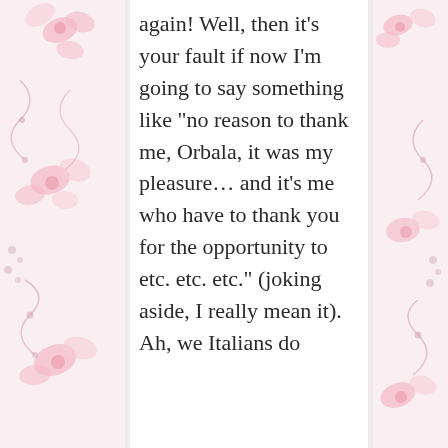again! Well, then it’s your fault if now I’m going to say something like “no reason to thank me, Orbala, it was my pleasure… and it’s me who have to thank you for the opportunity to etc. etc. etc.” (joking aside, I really mean it).
Ah, we Italians do